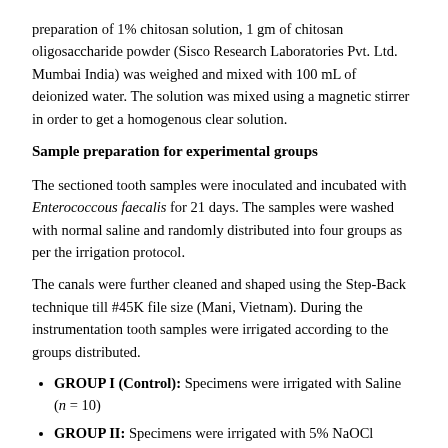preparation of 1% chitosan solution, 1 gm of chitosan oligosaccharide powder (Sisco Research Laboratories Pvt. Ltd. Mumbai India) was weighed and mixed with 100 mL of deionized water. The solution was mixed using a magnetic stirrer in order to get a homogenous clear solution.
Sample preparation for experimental groups
The sectioned tooth samples were inoculated and incubated with Enterococcous faecalis for 21 days. The samples were washed with normal saline and randomly distributed into four groups as per the irrigation protocol.
The canals were further cleaned and shaped using the Step-Back technique till #45K file size (Mani, Vietnam). During the instrumentation tooth samples were irrigated according to the groups distributed.
GROUP I (Control): Specimens were irrigated with Saline (n = 10)
GROUP II: Specimens were irrigated with 5% NaOCl solution and 17% EDTA solution (n = 20)
GROUP III: Specimens were irrigated with 5% Ca(OCl)2 solution and 17% EDTA solution (n = 20)
GROUP IV: Specimens were irrigated with 5% Ca(OCl)2 solution and